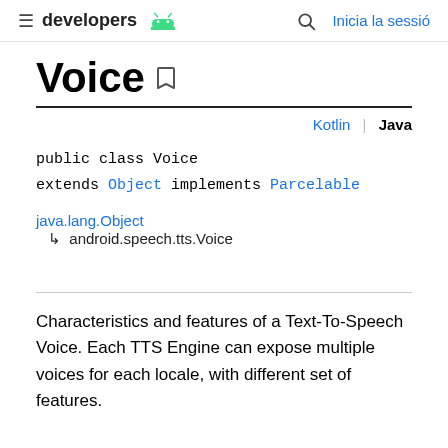≡ developers 🤖  🔍  Inicia la sessió
Voice
Kotlin | Java
public class Voice
extends Object implements Parcelable
java.lang.Object
↳ android.speech.tts.Voice
Characteristics and features of a Text-To-Speech Voice. Each TTS Engine can expose multiple voices for each locale, with different set of features.